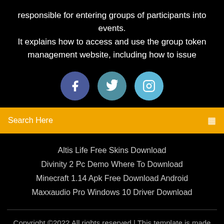responsible for entering groups of participants into events. It explains how to access and use the group token management website, including how to issue
[Figure (infographic): Three social media icon circles: Facebook (dark blue), Twitter (teal), Instagram (light blue)]
Search Here
Altis Life Free Skins Download
Divinity 2 Pc Demo Where To Download
Minecraft 1.14 Apk Free Download Android
Maxxaudio Pro Windows 10 Driver Download
Copyright ©2022 All rights reserved | This template is made with ♡ by Colorlib